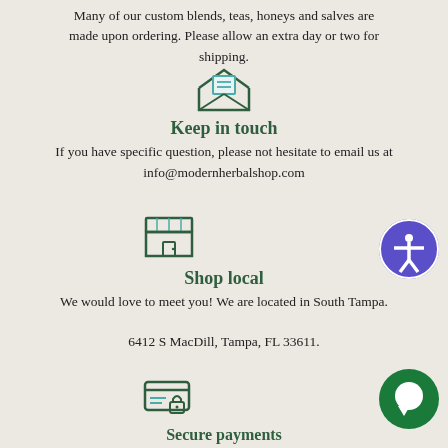Many of our custom blends, teas, honeys and salves are made upon ordering. Please allow an extra day or two for shipping.
[Figure (illustration): Envelope icon with letter inside, outlined in dark green]
Keep in touch
If you have specific question, please not hesitate to email us at info@modernherbalshop.com
[Figure (illustration): Shop/storefront icon outlined in dark green]
Shop local
We would love to meet you! We are located in South Tampa.
6412 S MacDill, Tampa, FL 33611.
[Figure (illustration): Credit card with lock icon, outlined in teal/dark green]
Secure payments